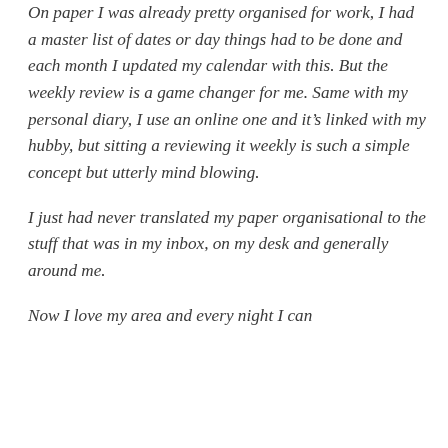On paper I was already pretty organised for work, I had a master list of dates or day things had to be done and each month I updated my calendar with this. But the weekly review is a game changer for me. Same with my personal diary, I use an online one and it's linked with my hubby, but sitting a reviewing it weekly is such a simple concept but utterly mind blowing.

I just had never translated my paper organisational to the stuff that was in my inbox, on my desk and generally around me.

Now I love my area and every night I can